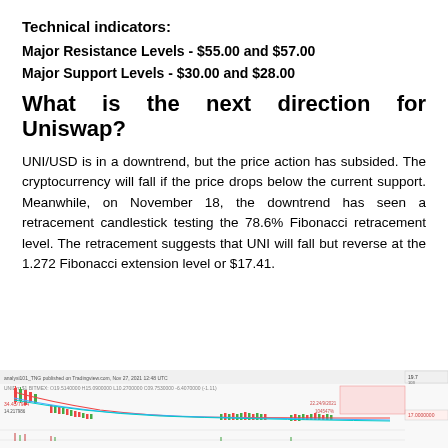Technical indicators:
Major Resistance Levels - $55.00 and $57.00
Major Support Levels - $30.00 and $28.00
What is the next direction for Uniswap?
UNI/USD is in a downtrend, but the price action has subsided. The cryptocurrency will fall if the price drops below the current support. Meanwhile, on November 18, the downtrend has seen a retracement candlestick testing the 78.6% Fibonacci retracement level. The retracement suggests that UNI will fall but reverse at the 1.272 Fibonacci extension level or $17.41.
[Figure (screenshot): Candlestick chart of UNI/USD price action with Fibonacci retracement levels, moving averages, showing downtrend with retracement on November 18, 2021. Chart from TradingView.]